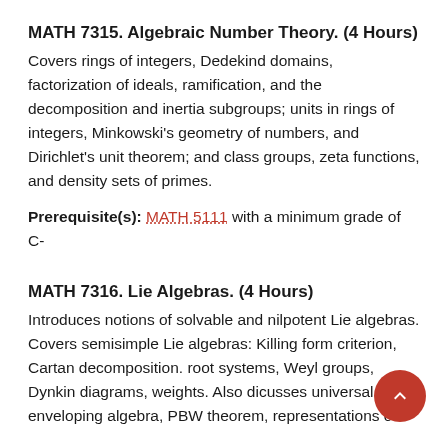MATH 7315. Algebraic Number Theory. (4 Hours)
Covers rings of integers, Dedekind domains, factorization of ideals, ramification, and the decomposition and inertia subgroups; units in rings of integers, Minkowski's geometry of numbers, and Dirichlet's unit theorem; and class groups, zeta functions, and density sets of primes.
Prerequisite(s): MATH 5111 with a minimum grade of C-
MATH 7316. Lie Algebras. (4 Hours)
Introduces notions of solvable and nilpotent Lie algebras. Covers semisimple Lie algebras: Killing form criterion, Cartan decomposition. root systems, Weyl groups, Dynkin diagrams, weights. Also dicusses universal enveloping algebra, PBW theorem, representations of